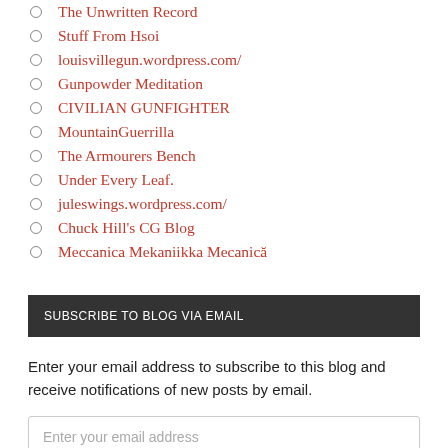The Unwritten Record
Stuff From Hsoi
louisvillegun.wordpress.com/
Gunpowder Meditation
CIVILIAN GUNFIGHTER
MountainGuerrilla
The Armourers Bench
Under Every Leaf.
juleswings.wordpress.com/
Chuck Hill's CG Blog
Meccanica Mekaniikka Mecanică
SUBSCRIBE TO BLOG VIA EMAIL
Enter your email address to subscribe to this blog and receive notifications of new posts by email.